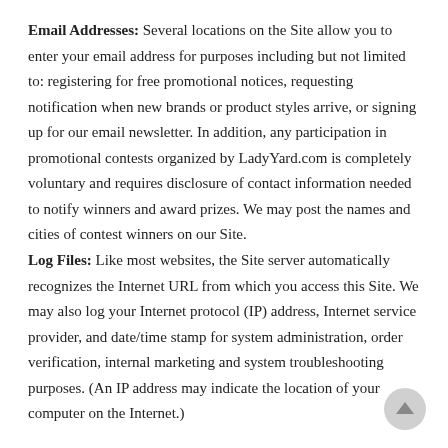Email Addresses: Several locations on the Site allow you to enter your email address for purposes including but not limited to: registering for free promotional notices, requesting notification when new brands or product styles arrive, or signing up for our email newsletter. In addition, any participation in promotional contests organized by LadyYard.com is completely voluntary and requires disclosure of contact information needed to notify winners and award prizes. We may post the names and cities of contest winners on our Site.
Log Files: Like most websites, the Site server automatically recognizes the Internet URL from which you access this Site. We may also log your Internet protocol (IP) address, Internet service provider, and date/time stamp for system administration, order verification, internal marketing and system troubleshooting purposes. (An IP address may indicate the location of your computer on the Internet.)